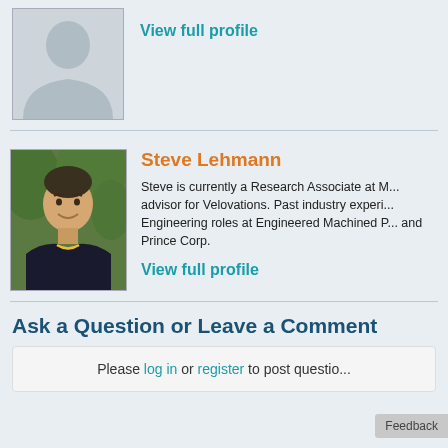[Figure (photo): Placeholder profile avatar icon with gray background and generic person silhouette]
View full profile
[Figure (photo): Photo of Steve Lehmann, a man smiling, wearing a dark polo shirt with yellow trim, outdoors with green foliage background]
Steve Lehmann
Steve is currently a Research Associate at M... advisor for Velovations. Past industry experi... Engineering roles at Engineered Machined P... and Prince Corp.
View full profile
Ask a Question or Leave a Comment
Please log in or register to post questions